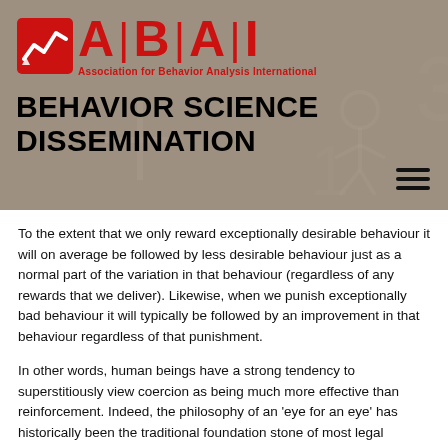[Figure (logo): ABAI logo — red square icon with chart line and the letters A|B|A|I in red, with tagline 'Association for Behavior Analysis International' in red]
BEHAVIOR SCIENCE DISSEMINATION
To the extent that we only reward exceptionally desirable behaviour it will on average be followed by less desirable behaviour just as a normal part of the variation in that behaviour (regardless of any rewards that we deliver). Likewise, when we punish exceptionally bad behaviour it will typically be followed by an improvement in that behaviour regardless of that punishment.
In other words, human beings have a strong tendency to superstitiously view coercion as being much more effective than reinforcement. Indeed, the philosophy of an 'eye for an eye' has historically been the traditional foundation stone of most legal systems (Carlsmith, 2006). If anything, as individuals we like other animals tend towards exacting a higher cost in revenge than the original offence – to teach our offender a memorable